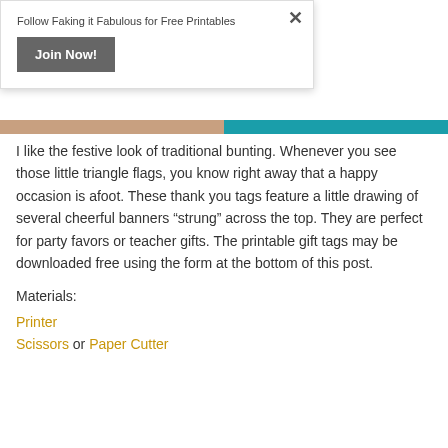Follow Faking it Fabulous for Free Printables
Join Now!
[Figure (photo): Image strip showing a photo on the left and a teal/blue color on the right]
I like the festive look of traditional bunting. Whenever you see those little triangle flags, you know right away that a happy occasion is afoot. These thank you tags feature a little drawing of several cheerful banners “strung” across the top. They are perfect for party favors or teacher gifts. The printable gift tags may be downloaded free using the form at the bottom of this post.
Materials:
Printer
Scissors or Paper Cutter